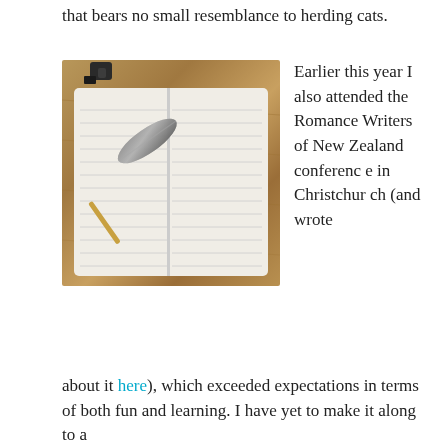that bears no small resemblance to herding cats.
[Figure (photo): A feather quill pen resting on an open notebook/journal, with an inkwell in the background, on a wooden surface.]
Earlier this year I also attended the Romance Writers of New Zealand conference in Christchurch (and wrote about it here), which exceeded expectations in terms of both fun and learning. I have yet to make it along to a